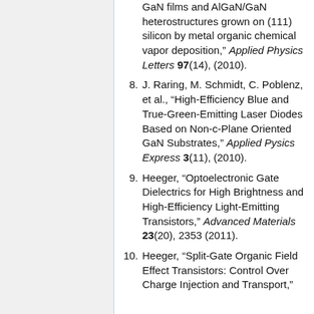continuation: GaN films and AlGaN/GaN heterostructures grown on (111) silicon by metal organic chemical vapor deposition," Applied Physics Letters 97(14), (2010).
8. J. Raring, M. Schmidt, C. Poblenz, et al., "High-Efficiency Blue and True-Green-Emitting Laser Diodes Based on Non-c-Plane Oriented GaN Substrates," Applied Pysics Express 3(11), (2010).
9. Heeger, "Optoelectronic Gate Dielectrics for High Brightness and High-Efficiency Light-Emitting Transistors," Advanced Materials 23(20), 2353 (2011).
10. Heeger, "Split-Gate Organic Field Effect Transistors: Control Over Charge Injection and Transport,"